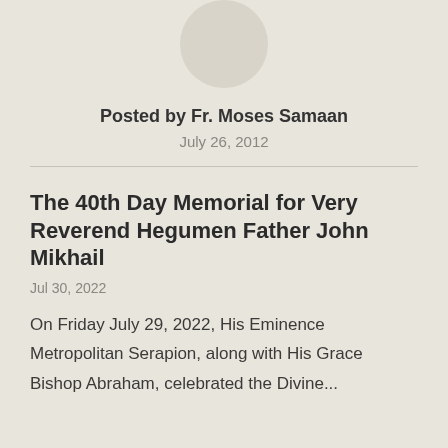[Figure (illustration): Circular avatar placeholder image in light beige/gray color]
Posted by Fr. Moses Samaan
July 26, 2012
The 40th Day Memorial for Very Reverend Hegumen Father John Mikhail
Jul 30, 2022
On Friday July 29, 2022, His Eminence Metropolitan Serapion, along with His Grace Bishop Abraham, celebrated the Divine...